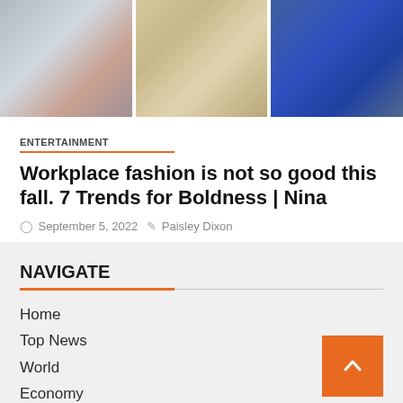[Figure (photo): Three fashion photos arranged side by side: left shows a person in light gray outfit with brown coat, center shows a person in beige plaid blazer suit, right shows a person in navy blue outfit carrying a bag.]
ENTERTAINMENT
Workplace fashion is not so good this fall. 7 Trends for Boldness | Nina
September 5, 2022   Paisley Dixon
NAVIGATE
Home
Top News
World
Economy